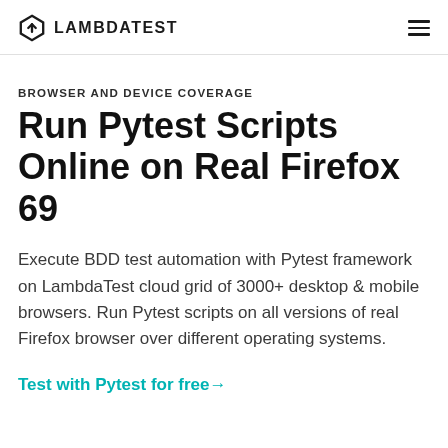LAMBDATEST
BROWSER AND DEVICE COVERAGE
Run Pytest Scripts Online on Real Firefox 69
Execute BDD test automation with Pytest framework on LambdaTest cloud grid of 3000+ desktop & mobile browsers. Run Pytest scripts on all versions of real Firefox browser over different operating systems.
Test with Pytest for free→